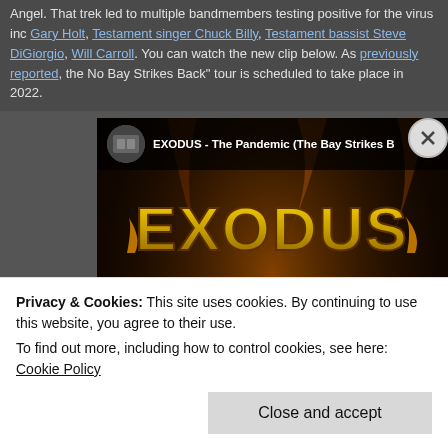Angel. That trek led to multiple bandmembers testing positive for the virus inc Gary Holt, Testament singer Chuck Billy, Testament bassist Steve DiGiorgio, Will Carroll. You can watch the new clip below. As previously reported, the No Bay Strikes Back" tour is scheduled to take place in 2022.
[Figure (screenshot): YouTube video thumbnail for EXODUS - The Pandemic (The Bay Strikes Back). Shows the Exodus logo in gold on a dark/fire background, with large white text reading THE PANDEMIC / THE BAY / STRIKES BACK. A YouTube play button is overlaid in the center.]
Privacy & Cookies: This site uses cookies. By continuing to use this website, you agree to their use.
To find out more, including how to control cookies, see here: Cookie Policy
Close and accept